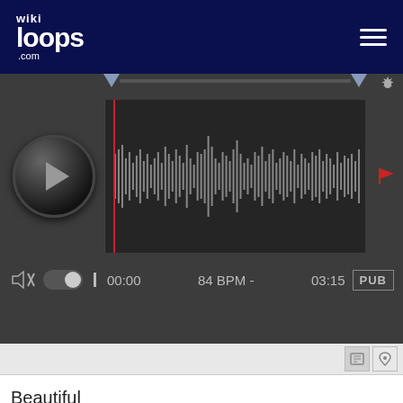[Figure (screenshot): wikiloops.com website header with logo and hamburger menu on dark navy background]
[Figure (screenshot): Audio player with play button, waveform visualization, time display 00:00 / 84 BPM / 03:15, and PUB label]
Beautiful
Tomorrow Never Comes
wikiloops.com utilise des Cookies pour vous apporter la meilleure expérience de navigation. En apprendre plus sur notre charte des données privées .
OK, pigé